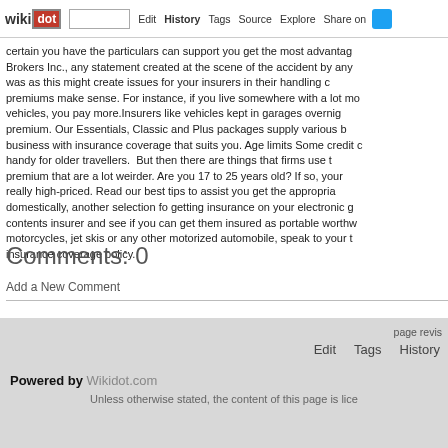wikidot | site | Edit | History | Tags | Source | Explore | Share on [Twitter]
certain you have the particulars can support you get the most advantage. Brokers Inc., any statement created at the scene of the accident by any was as this might create issues for your insurers in their handling c premiums make sense. For instance, if you live somewhere with a lot mo vehicles, you pay more.Insurers like vehicles kept in garages overnight premium. Our Essentials, Classic and Plus packages supply various b business with insurance coverage that suits you. Age limits Some credit c handy for older travellers. But then there are things that firms use to premium that are a lot weirder. Are you 17 to 25 years old? If so, your really high-priced. Read our best tips to assist you get the appropriate domestically, another selection fo getting insurance on your electronic g contents insurer and see if you can get them insured as portable worthw motorcycles, jet skis or any other motorized automobile, speak to your t insurance coverage policy.
Comments: 0
Add a New Comment
page revis | Edit | Tags | History | Powered by Wikidot.com | Unless otherwise stated, the content of this page is lice